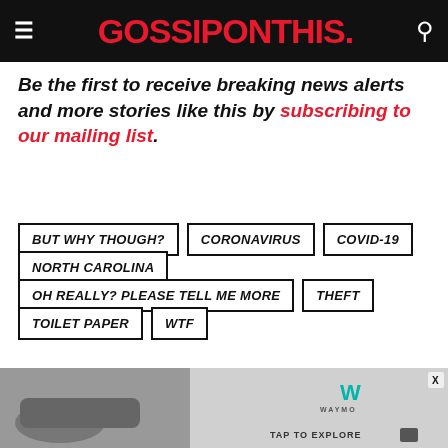GOSSIPONTHIS.
Be the first to receive breaking news alerts and more stories like this by subscribing to our mailing list.
BUT WHY THOUGH?
CORONAVIRUS
COVID-19
NORTH CAROLINA
OH REALLY? PLEASE TELL ME MORE
THEFT
TOILET PAPER
WTF
[Figure (screenshot): Waymo advertisement banner at bottom of page with car image and TAP TO EXPLORE text]